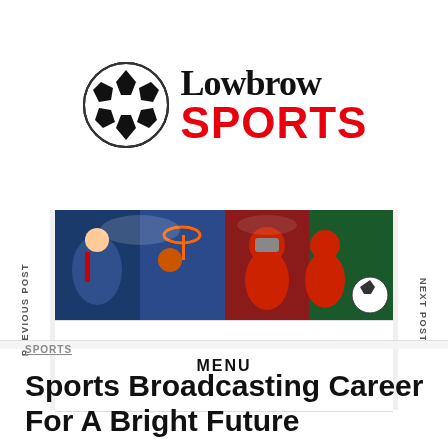[Figure (logo): Lowbrow Sports logo with soccer ball and text 'Lowbrow SPORTS' in black and red]
[Figure (photo): Sports collage banner showing hockey, basketball, American football, baseball, and soccer players]
PREVIOUS POST
NEXT POST
MENU
SPORTS
Sports Broadcasting Career For A Bright Future